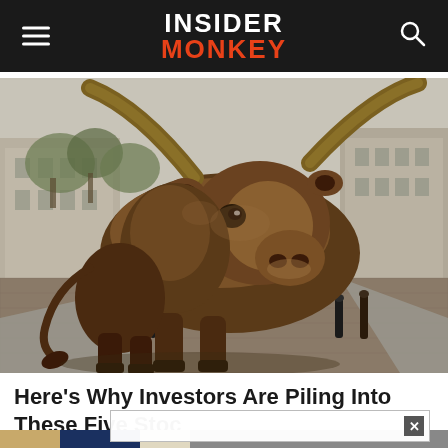INSIDER MONKEY
[Figure (photo): Charging Bull statue on Wall Street, New York City. Bronze bull sculpture facing forward with head lowered, set against an urban street background with bollards, trees, and buildings visible.]
Here's Why Investors Are Piling Into These Five Stoc[ks]